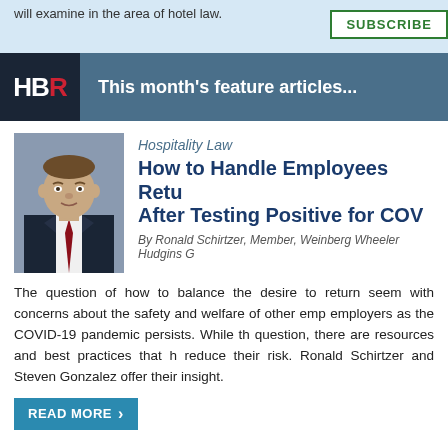will examine in the area of hotel law.
SUBSCRIBE
This month's feature articles...
Hospitality Law
How to Handle Employees Returning After Testing Positive for COVID
By Ronald Schirtzer, Member, Weinberg Wheeler Hudgins G...
The question of how to balance the desire to return seems with concerns about the safety and welfare of other employees as the COVID-19 pandemic persists. While the question, there are resources and best practices that help reduce their risk. Ronald Schirtzer and Steven Gonzalez offer their insight.
READ MORE